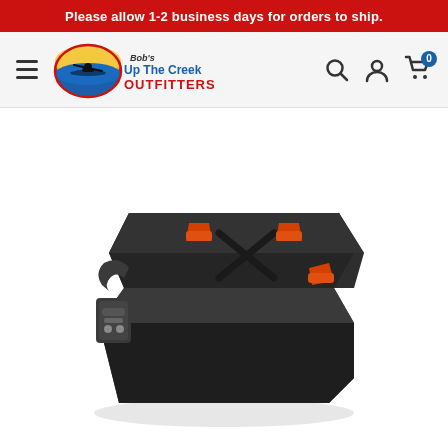Please allow 1-2 business days for orders to ship.
[Figure (logo): Bob's Up The Creek Outfitters logo with a circular kayaker icon and text]
[Figure (photo): Black plastic battery box or storage container with orange locking latches and a metal clamp mechanism on the front left side, shown in 3/4 perspective view on white background]